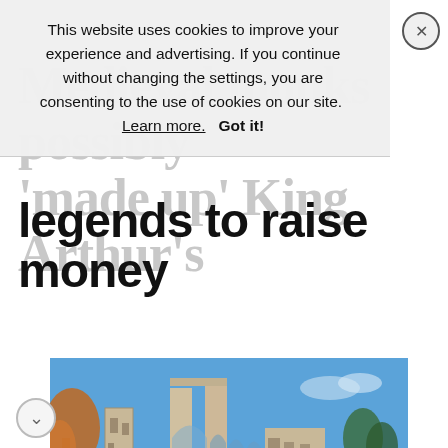This website uses cookies to improve your experience and advertising. If you continue without changing the settings, you are consenting to the use of cookies on our site.  Learn more.   Got it!
Medieval monks possibly 'made up' King Arthur's legends to raise money
[Figure (photo): Photograph of Glastonbury Abbey ruins — tall Gothic stone arches and walls standing in a green field under a blue sky, with bare trees in the background.]